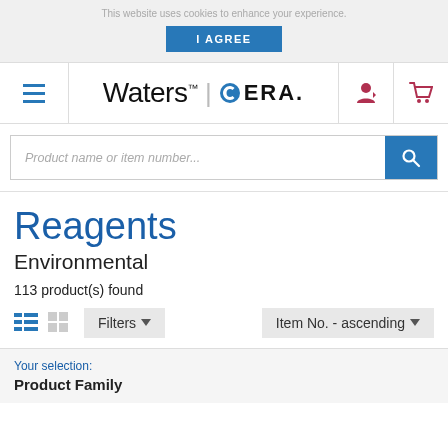This website uses cookies to enhance your experience.
I AGREE
[Figure (logo): Waters ERA logo with hamburger menu, user icon, and cart icon in navigation bar]
Product name or item number...
Reagents
Environmental
113 product(s) found
Filters  Item No. - ascending
Your selection:
Product Family